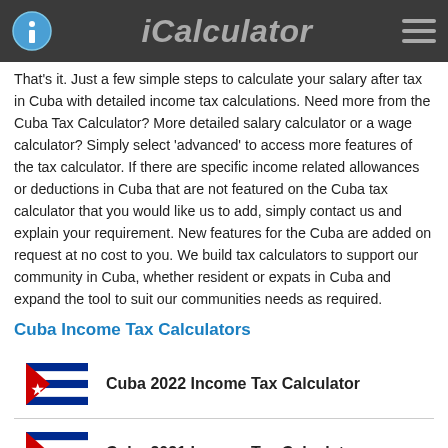iCalculator
That's it. Just a few simple steps to calculate your salary after tax in Cuba with detailed income tax calculations. Need more from the Cuba Tax Calculator? More detailed salary calculator or a wage calculator? Simply select 'advanced' to access more features of the tax calculator. If there are specific income related allowances or deductions in Cuba that are not featured on the Cuba tax calculator that you would like us to add, simply contact us and explain your requirement. New features for the Cuba are added on request at no cost to you. We build tax calculators to support our community in Cuba, whether resident or expats in Cuba and expand the tool to suit our communities needs as required.
Cuba Income Tax Calculators
Cuba 2022 Income Tax Calculator
Cuba 2021 Income Tax Calculator